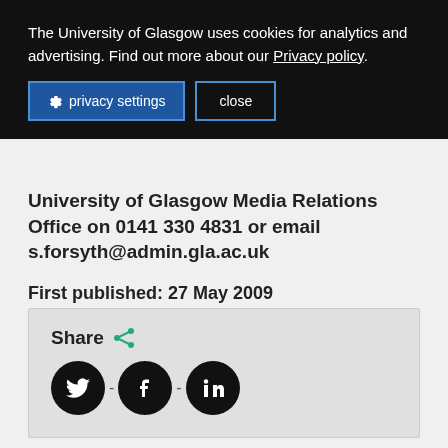The University of Glasgow uses cookies for analytics and advertising. Find out more about our Privacy policy.
privacy settings  close
University of Glasgow Media Relations Office on 0141 330 4831 or email s.forsyth@admin.gla.ac.uk
First published: 27 May 2009
<< May
[Figure (infographic): Share section with Twitter, Facebook, and LinkedIn social media icon buttons]